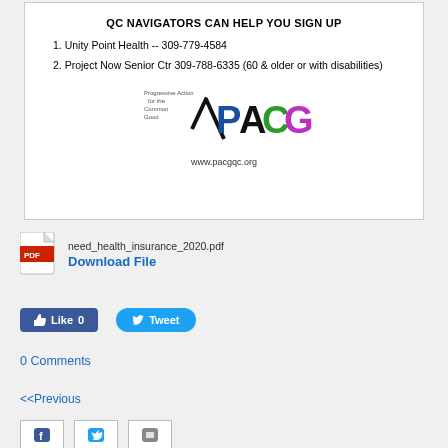QC NAVIGATORS CAN HELP YOU SIGN UP
1. Unity Point Health -- 309-779-4584
2. Project Now Senior Ctr 309-788-6335 (60 & older or with disabilities)
[Figure (logo): Progressive Action for the Common Good PACG logo with stylized letters and checkmark, www.pacgqc.org]
need_health_insurance_2020.pdf
Download File
Like 0
Tweet
0 Comments
<<Previous